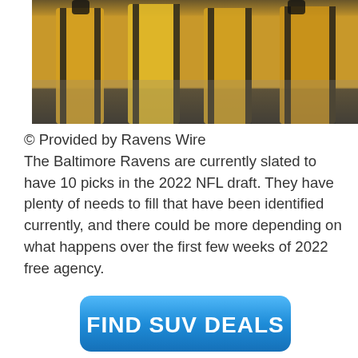[Figure (photo): Football players in gold and black uniforms, cropped showing lower bodies and legs]
© Provided by Ravens Wire
The Baltimore Ravens are currently slated to have 10 picks in the 2022 NFL draft. They have plenty of needs to fill that have been identified currently, and there could be more depending on what happens over the first few weeks of 2022 free agency.
[Figure (other): Blue rounded rectangle button with text FIND SUV DEALS in bold white capital letters]